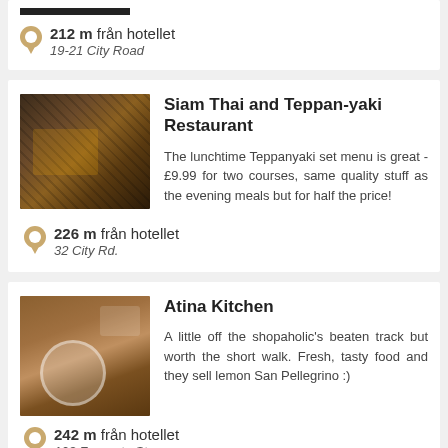212 m från hotellet
19-21 City Road
Siam Thai and Teppan-yaki Restaurant
The lunchtime Teppanyaki set menu is great - £9.99 for two courses, same quality stuff as the evening meals but for half the price!
226 m från hotellet
32 City Rd.
Atina Kitchen
A little off the shopaholic's beaten track but worth the short walk. Fresh, tasty food and they sell lemon San Pellegrino :)
242 m från hotellet
103 Foregate St.